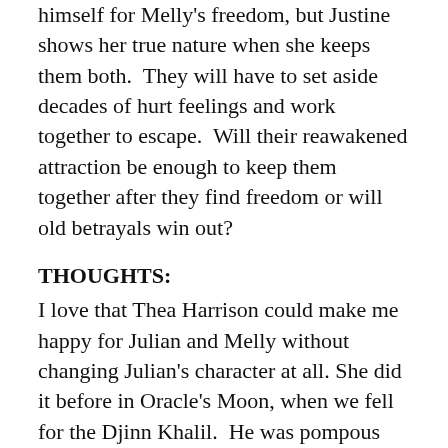himself for Melly's freedom, but Justine shows her true nature when she keeps them both.  They will have to set aside decades of hurt feelings and work together to escape.  Will their reawakened attraction be enough to keep them together after they find freedom or will old betrayals win out?
THOUGHTS:
I love that Thea Harrison could make me happy for Julian and Melly without changing Julian's character at all. She did it before in Oracle's Moon, when we fell for the Djinn Khalil.  He was pompous and overbearing but we managed to find that charming by the end, and he's still one of my favorite characters in the series. In Midnight's Kiss, she hasn't turned Julian into a favorite character, but she's gotten me to understand him better and see why life made him the man that he is, and even a cold, vampyre like Julian